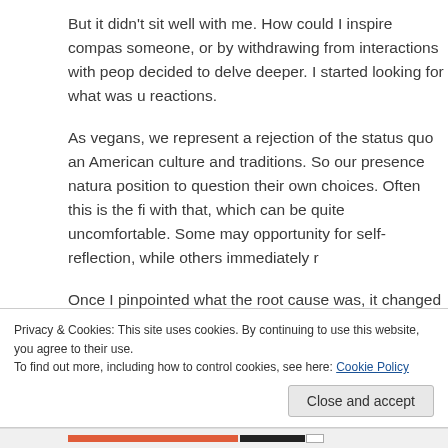But it didn't sit well with me. How could I inspire compas someone, or by withdrawing from interactions with peop decided to delve deeper. I started looking for what was u reactions.
As vegans, we represent a rejection of the status quo an American culture and traditions. So our presence natura position to question their own choices. Often this is the fi with that, which can be quite uncomfortable. Some may opportunity for self-reflection, while others immediately r
Once I pinpointed what the root cause was, it changed m
Privacy & Cookies: This site uses cookies. By continuing to use this website, you agree to their use. To find out more, including how to control cookies, see here: Cookie Policy